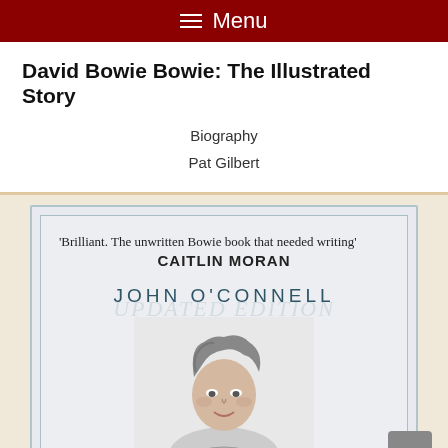≡ Menu
David Bowie Bowie: The Illustrated Story
Biography
Pat Gilbert
[Figure (photo): Book cover of 'Bowie: The Illustrated Story' by John O'Connell. Features a quote 'Brilliant. The unwritten Bowie book that needed writing' by Caitlin Moran, the author's name JOHN O'CONNELL in large letters, and a black-and-white photograph of David Bowie.]